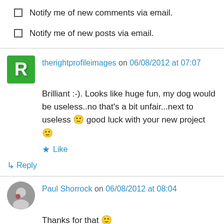Notify me of new comments via email.
Notify me of new posts via email.
therightprofileimages on 06/08/2012 at 07:07
Brilliant :-). Looks like huge fun, my dog would be useless..no that's a bit unfair...next to useless 🙂 good luck with your new project 🙂
★ Like
↳ Reply
Paul Shorrock on 06/08/2012 at 08:04
Thanks for that 🙂
They say you can't teach an old dog new tricks...